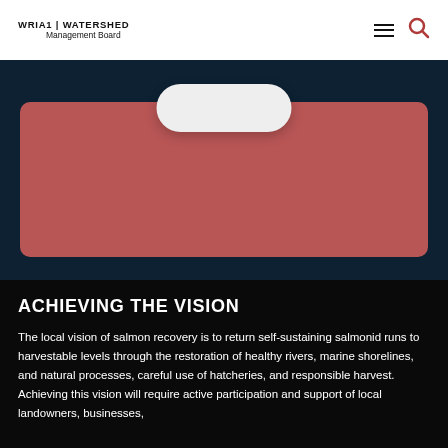WRIA1 | WATERSHED Management Board
[Figure (illustration): Partial view of a mauve/rose-colored card with a rounded white button element at its top center, set against a dark navy background section]
ACHIEVING THE VISION
The local vision of salmon recovery is to return self-sustaining salmonid runs to harvestable levels through the restoration of healthy rivers, marine shorelines, and natural processes, careful use of hatcheries, and responsible harvest. Achieving this vision will require active participation and support of local landowners, businesses,